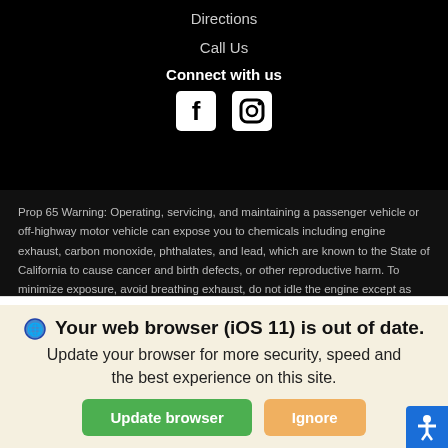Directions
Call Us
Connect with us
[Figure (other): Facebook and Instagram social media icons in white on black background]
Prop 65 Warning: Operating, servicing, and maintaining a passenger vehicle or off-highway motor vehicle can expose you to chemicals including engine exhaust, carbon monoxide, phthalates, and lead, which are known to the State of California to cause cancer and birth defects, or other reproductive harm. To minimize exposure, avoid breathing exhaust, do not idle the engine except as necessary, service your vehicle in a well-ventilated area and wear gloves or wash your hands frequently when servicing your vehicle. For more information go to https://www.p65warnings.ca.gov/products/passenger-vehicle.
We use cookies to optimize our website and our service.
Cookie Policy   Privacy Statement
Your web browser (iOS 11) is out of date. Update your browser for more security, speed and the best experience on this site.
Update browser   Ignore